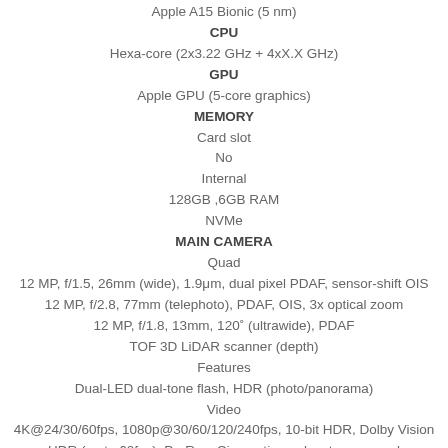Apple A15 Bionic (5 nm)
CPU
Hexa-core (2x3.22 GHz + 4xX.X GHz)
GPU
Apple GPU (5-core graphics)
MEMORY
Card slot
No
Internal
128GB ,6GB RAM
NVMe
MAIN CAMERA
Quad
12 MP, f/1.5, 26mm (wide), 1.9μm, dual pixel PDAF, sensor-shift OIS
12 MP, f/2.8, 77mm (telephoto), PDAF, OIS, 3x optical zoom
12 MP, f/1.8, 13mm, 120° (ultrawide), PDAF
TOF 3D LiDAR scanner (depth)
Features
Dual-LED dual-tone flash, HDR (photo/panorama)
Video
4K@24/30/60fps, 1080p@30/60/120/240fps, 10-bit HDR, Dolby Vision HDR (up to 60fps), ProRes, Cinematic mode, stereo sound